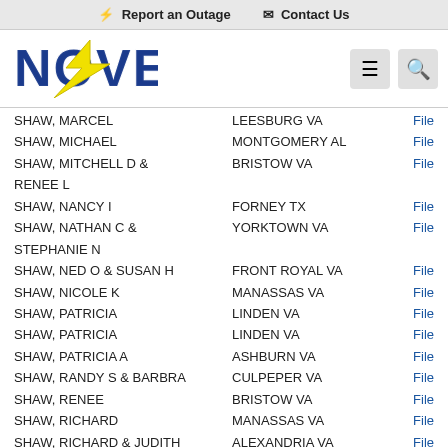⚡ Report an Outage   ✉ Contact Us
[Figure (logo): NOVEC electric cooperative logo with yellow lightning bolt through blue letters]
| Name | City/State |  |
| --- | --- | --- |
| SHAW, MARCEL | LEESBURG VA | File |
| SHAW, MICHAEL | MONTGOMERY AL | File |
| SHAW, MITCHELL D & RENEE L | BRISTOW VA | File |
| SHAW, NANCY I | FORNEY TX | File |
| SHAW, NATHAN C & STEPHANIE N | YORKTOWN VA | File |
| SHAW, NED O & SUSAN H | FRONT ROYAL VA | File |
| SHAW, NICOLE K | MANASSAS VA | File |
| SHAW, PATRICIA | LINDEN VA | File |
| SHAW, PATRICIA | LINDEN VA | File |
| SHAW, PATRICIA A | ASHBURN VA | File |
| SHAW, RANDY S & BARBRA | CULPEPER VA | File |
| SHAW, RENEE | BRISTOW VA | File |
| SHAW, RICHARD | MANASSAS VA | File |
| SHAW, RICHARD & JUDITH | ALEXANDRIA VA | File |
| SHAW, ROBERT | ALEXANDRIA VA | File |